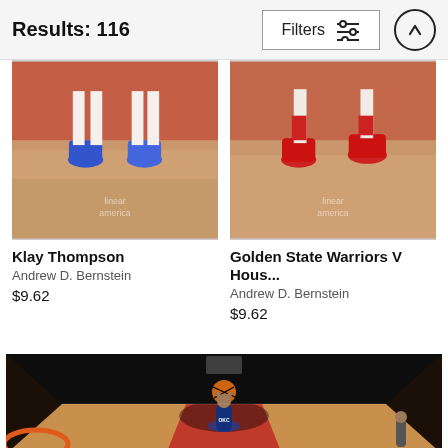Results: 116  Filters
[Figure (photo): Basketball photo showing players' feet and shoes on a hardwood court with red background – Klay Thompson]
Klay Thompson
Andrew D. Bernstein
$9.62
[Figure (photo): Basketball photo showing players' feet and shoes on a hardwood court – Golden State Warriors V Houston]
Golden State Warriors V Hous...
Andrew D. Bernstein
$9.62
[Figure (photo): Wide-angle fish-eye view of NBA basketball game, OKC player going up for a dunk at the Toronto Raptors arena, crowd in background]